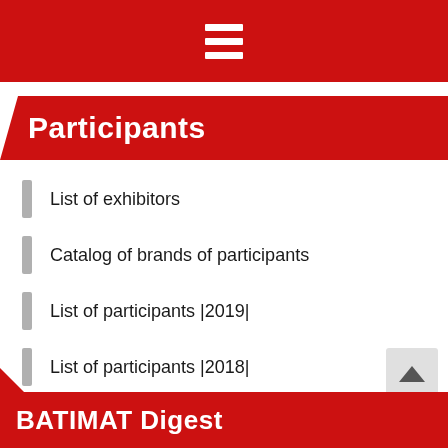Participants
List of exhibitors
Catalog of brands of participants
List of participants |2019|
List of participants |2018|
List of participants |2017|
BATIMAT Digest